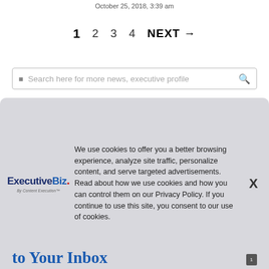October 25, 2018, 3:39 am
1   2   3   4   NEXT →
[Figure (other): Search bar with placeholder text 'Search here for more news, executive profile' and a magnifier icon on the right]
[Figure (other): Cookie consent overlay with ExecutiveBiz logo on left, cookie policy text in center, and X close button on right]
We use cookies to offer you a better browsing experience, analyze site traffic, personalize content, and serve targeted advertisements. Read about how we use cookies and how you can control them on our Privacy Policy. If you continue to use this site, you consent to our use of cookies.
to Your Inbox